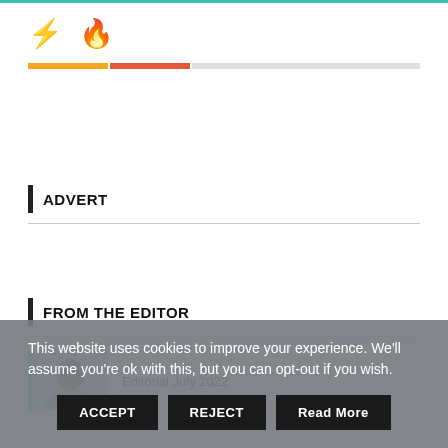[Figure (illustration): Two icons: a lightning bolt in orange/yellow and a flame in red-orange, displayed as a website header logo area with a teal top border and a colored progress/indicator bar below]
ADVERT
FROM THE EDITOR
Editorial July 2022
This website uses cookies to improve your experience. We'll assume you're ok with this, but you can opt-out if you wish.
ACCEPT | REJECT | Read More